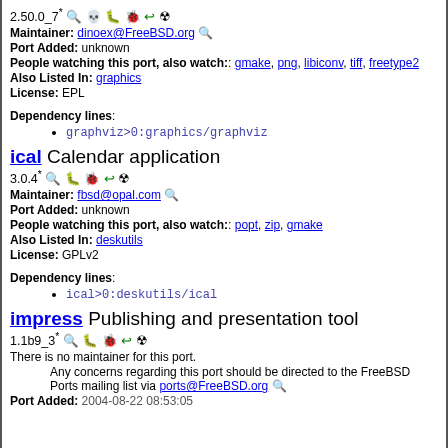2.50.0_7* 🔍 💀 🐛 🐞 ↩ ☢
Maintainer: dinoex@FreeBSD.org 🔍
Port Added: unknown
People watching this port, also watch:: gmake, png, libiconv, tiff, freetype2
Also Listed In: graphics
License: EPL
Dependency lines:
graphviz>0:graphics/graphviz
ical Calendar application
3.0.4* 🔍 🐛 🐞 ↩ ☢
Maintainer: fbsd@opal.com 🔍
Port Added: unknown
People watching this port, also watch:: popt, zip, gmake
Also Listed In: deskutils
License: GPLv2
Dependency lines:
ical>0:deskutils/ical
impress Publishing and presentation tool
1.1b9_3* 🔍 🐛 🐞 ↩ ☢
There is no maintainer for this port.
Any concerns regarding this port should be directed to the FreeBSD Ports mailing list via ports@FreeBSD.org 🔍
Port Added: 2004-08-22 08:53:05